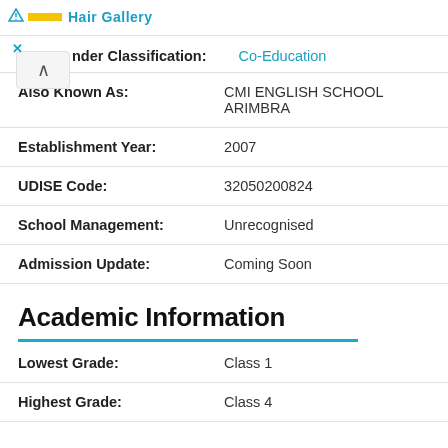Hair Gallery (ad bar)
| Field | Value |
| --- | --- |
| nder Classification: | Co-Education |
| Also Known As: | CMI ENGLISH SCHOOL ARIMBRA |
| Establishment Year: | 2007 |
| UDISE Code: | 32050200824 |
| School Management: | Unrecognised |
| Admission Update: | Coming Soon |
Academic Information
| Field | Value |
| --- | --- |
| Lowest Grade: | Class 1 |
| Highest Grade: | Class 4 |